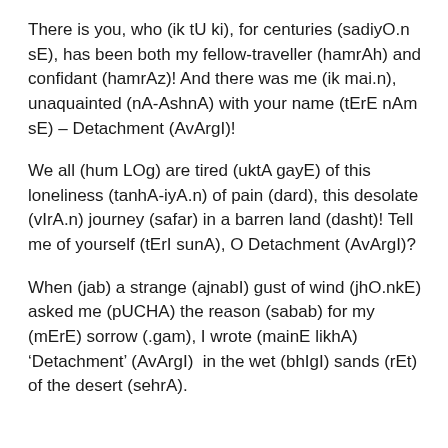There is you, who (ik tU ki), for centuries (sadiyO.n sE), has been both my fellow-traveller (hamrAh) and confidant (hamrAz)! And there was me (ik mai.n), unaquainted (nA-AshnA) with your name (tErE nAm sE) – Detachment (AvArgI)!
We all (hum LOg) are tired (uktA gayE) of this loneliness (tanhA-iyA.n) of pain (dard), this desolate (vIrA.n) journey (safar) in a barren land (dasht)! Tell me of yourself (tErI sunA), O Detachment (AvArgI)?
When (jab) a strange (ajnabI) gust of wind (jhO.nkE) asked me (pUCHA) the reason (sabab) for my (mErE) sorrow (.gam), I wrote (mainE likhA)  ‘Detachment’ (AvArgI)  in the wet (bhIgI) sands (rEt) of the desert (sehrA).